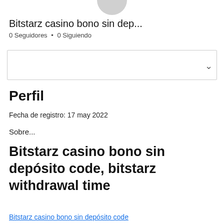[Figure (illustration): Circular avatar/profile image placeholder, partially cut off at top]
Bitstarz casino bono sin dep...
0 Seguidores • 0 Siguiendo
[Figure (other): Dropdown navigation box with chevron/expand arrow on right]
Perfil
Fecha de registro: 17 may 2022
Sobre...
Bitstarz casino bono sin depósito code, bitstarz withdrawal time
Bitstarz casino bono sin depósito code